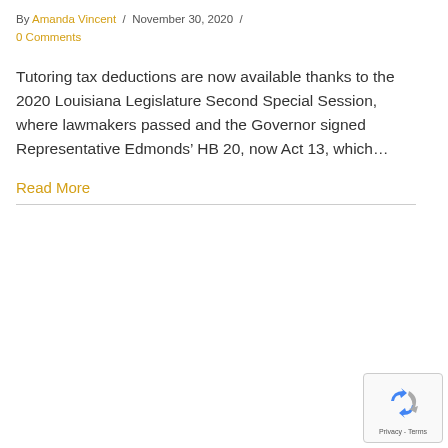By Amanda Vincent / November 30, 2020 / 0 Comments
Tutoring tax deductions are now available thanks to the 2020 Louisiana Legislature Second Special Session, where lawmakers passed and the Governor signed Representative Edmonds’ HB 20, now Act 13, which…
Read More
[Figure (other): Google reCAPTCHA badge with recycling-style arrow icon and Privacy - Terms text]